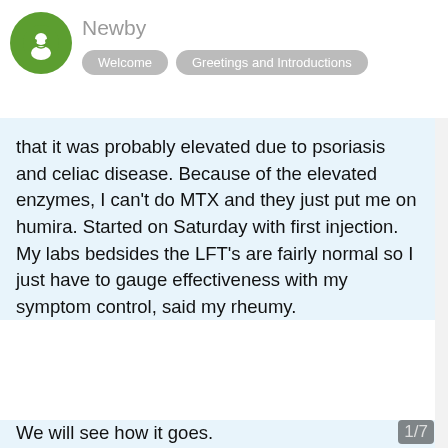Newby | Welcome | Greetings and Introductions
that it was probably elevated due to psoriasis and celiac disease. Because of the elevated enzymes, I can't do MTX and they just put me on humira. Started on Saturday with first injection. My labs bedsides the LFT's are fairly normal so I just have to gauge effectiveness with my symptom control, said my rheumy.
We will see how it goes.
This website uses cookies to ensure you get the best experience on our website.
Learn more
Got it!
Apr '14   Apr '14   replies
Seenie
Apr '14
Hey there, Colin! I'm sure you don't get a
1/7